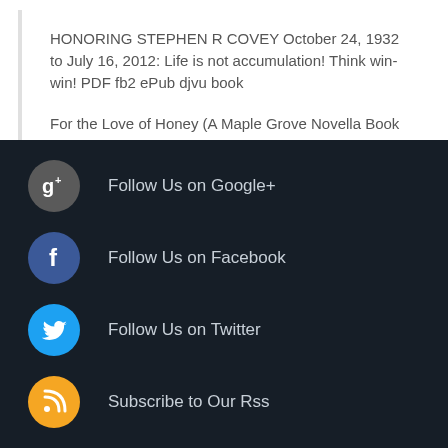HONORING STEPHEN R COVEY October 24, 1932 to July 16, 2012: Life is not accumulation! Think win-win! PDF fb2 ePub djvu book
For the Love of Honey (A Maple Grove Novella Book 1) PDF Text ePub djvu book
Follow Us on Google+
Follow Us on Facebook
Follow Us on Twitter
Subscribe to Our Rss